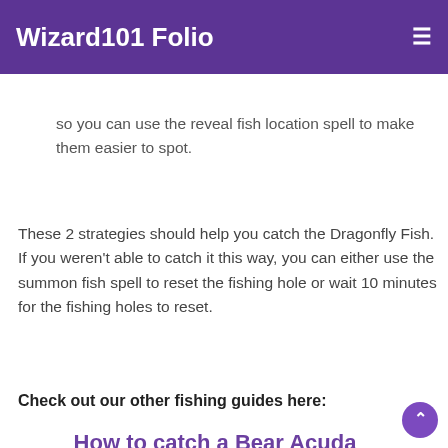Wizard101 Folio
3. The fish at this point might be a little bit difficult to spot, so you can use the reveal fish location spell to make them easier to spot.
These 2 strategies should help you catch the Dragonfly Fish. If you weren't able to catch it this way, you can either use the summon fish spell to reset the fishing hole or wait 10 minutes for the fishing holes to reset.
Check out our other fishing guides here:
How to catch a Bear Acuda
How to catch a Fish Sandwich